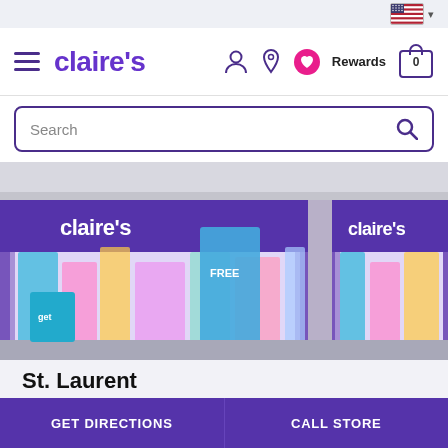US flag language selector
[Figure (screenshot): Claire's retail store website header with hamburger menu, Claire's purple logo, user/location/heart icons, Rewards label, and shopping bag with 0 count]
[Figure (photo): Claire's store front in a mall showing two purple storefronts with white Claire's logo, glass windows displaying colorful merchandise, accessories, and promotional signs including 'ERRING BUY 3 GET 1 FREE']
St. Laurent
Open until 8pm ▼
GET DIRECTIONS
CALL STORE